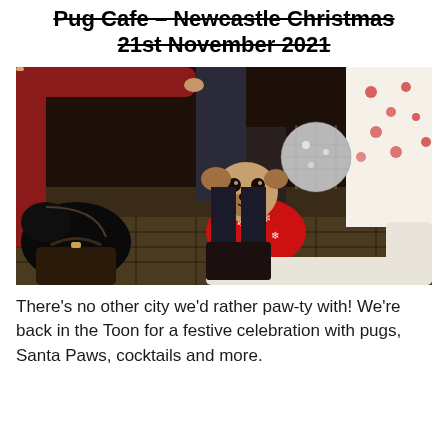Pug Cafe – Newcastle Christmas 21st November 2021
[Figure (photo): A pug wearing a red Christmas sweater with white snowflake pattern looks up at a treat being held by a person in a red top. A black dog is visible on the left, and a disco ball is in the background, set in what appears to be a festive cafe setting.]
There's no other city we'd rather paw-ty with! We're back in the Toon for a festive celebration with pugs, Santa Paws, cocktails and more.